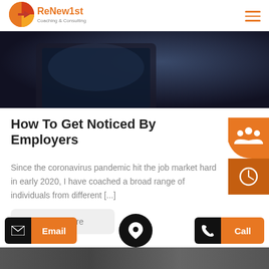[Figure (logo): ReNew1st Coaching & Consulting logo — circular orange/red quadrant design with an arrow, orange text 'ReNew1st', gray text 'Coaching & Consulting']
[Figure (photo): Dark background hero image of a tablet/tech device on a dark surface]
How To Get Noticed By Employers
Since the coronavirus pandemic hit the job market hard in early 2020, I have coached a broad range of individuals from different [...]
Read More
[Figure (infographic): Footer contact bar with Email button (envelope icon + orange label), location pin circle icon, and Call button (phone icon + orange label)]
[Figure (photo): Bottom strip image partially visible]